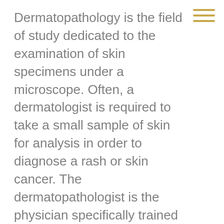Dermatopathology is the field of study dedicated to the examination of skin specimens under a microscope. Often, a dermatologist is required to take a small sample of skin for analysis in order to diagnose a rash or skin cancer. The dermatopathologist is the physician specifically trained to interpret this skin specimen. Dr. Ramsay Farah has received this highly specialized training and is board certified in Dermatopathology as well as Dermatology. It is often advantageous to have the dermatologist who is evaluating the patient in the clinic also